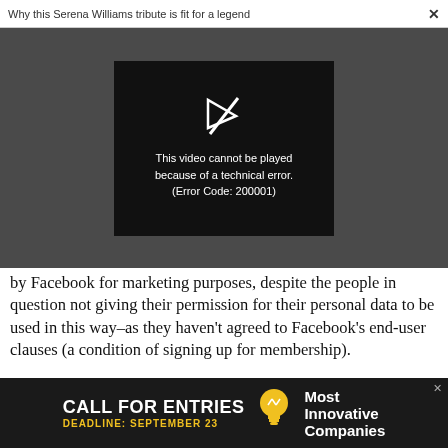Why this Serena Williams tribute is fit for a legend  ×
[Figure (screenshot): Video player showing error message: 'This video cannot be played because of a technical error. (Error Code: 200001)' on dark background with broken play icon]
by Facebook for marketing purposes, despite the people in question not giving their permission for their personal data to be used in this way–as they haven't agreed to Facebook's end-user clauses (a condition of signing up for membership).
[Figure (infographic): Advertisement banner: 'CALL FOR ENTRIES DEADLINE: SEPTEMBER 23' with lightbulb icon and 'Most Innovative Companies' text on dark background]